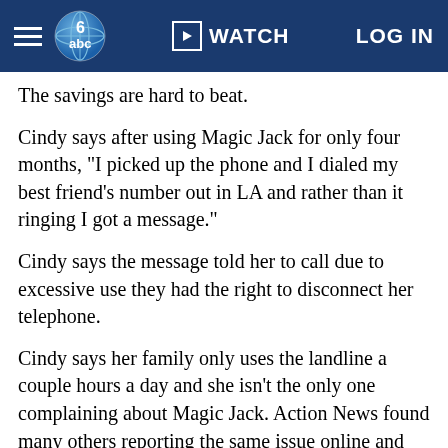WATCH   LOG IN
The savings are hard to beat.
Cindy says after using Magic Jack for only four months, "I picked up the phone and I dialed my best friend's number out in LA and rather than it ringing I got a message."
Cindy says the message told her to call due to excessive use they had the right to disconnect her telephone.
Cindy says her family only uses the landline a couple hours a day and she isn't the only one complaining about Magic Jack. Action News found many others reporting the same issue online and many of those consumers, including Cindy, say they were told they'd have to buy a Magic Jack calling card with prepaid minutes at the cost of one cent per minute!
But did Magic Jack's website say it did find that "If Magic...